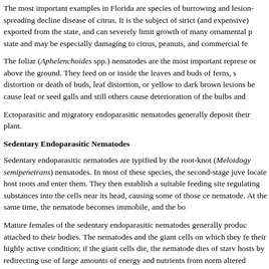The most important examples in Florida are species of burrowing and lesion-spreading decline disease of citrus. It is the subject of strict (and expensive) exported from the state, and can severely limit growth of many ornamental p state and may be especially damaging to citrus, peanuts, and commercial fe
The foliar (Aphelenchoides spp.) nematodes are the most important represe or above the ground. They feed on or inside the leaves and buds of ferns, s distortion or death of buds, leaf distortion, or yellow to dark brown lesions be cause leaf or seed galls and still others cause deterioration of the bulbs and
Ectoparasitic and migratory endoparasitic nematodes generally deposit their plant.
Sedentary Endoparasitic Nematodes
Sedentary endoparasitic nematodes are typified by the root-knot (Meloidogy semipenetrans) nematodes. In most of these species, the second-stage juve locate host roots and enter them. They then establish a suitable feeding site regulating substances into the cells near its head, causing some of those ce nematode. At the same time, the nematode becomes immobile, and the bo
Mature females of the sedentary endoparasitic nematodes generally produc attached to their bodies. The nematodes and the giant cells on which they fe their highly active condition; if the giant cells die, the nematode dies of starv hosts by redirecting use of large amounts of energy and nutrients from norm altered tissues of the feeding site also disrupt the vascular system. Roots se rots than roots which are not galled: gall tissues are succulent, poorly protec
Sedentary endoparasites are the nematodes for which host resistance has m some plant species seem to determine whether or not a specific nematode v established, or in which they degenerate before a nematode can complete i